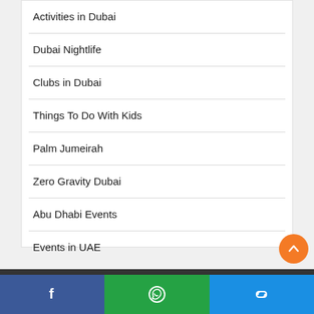Activities in Dubai
Dubai Nightlife
Clubs in Dubai
Things To Do With Kids
Palm Jumeirah
Zero Gravity Dubai
Abu Dhabi Events
Events in UAE
Facebook | WhatsApp | Link